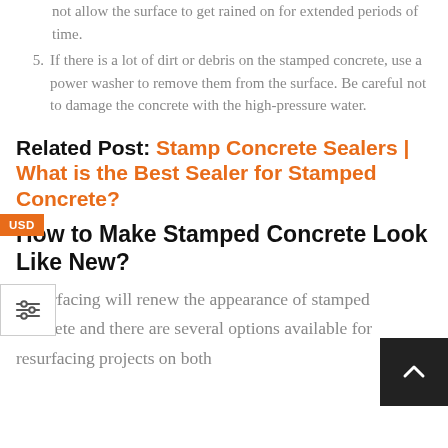not allow the surface to get rained on for extended periods of time.
5. If there is a lot of dirt or debris on the stamped concrete, use a power washer to remove them from the surface. Be careful not to damage the concrete with the high-pressure water.
Related Post: Stamp Concrete Sealers | What is the Best Sealer for Stamped Concrete?
How to Make Stamped Concrete Look Like New?
Resurfacing will renew the appearance of stamped concrete and there are several options available for resurfacing projects on both